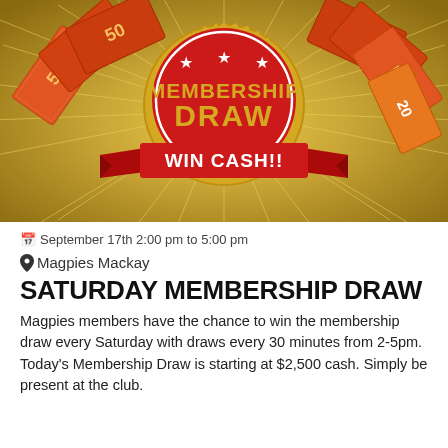[Figure (illustration): Membership Draw promotional image with Australian banknotes fanned out, a red and gold badge saying MEMBERSHIP DRAW with three stars, a red ribbon banner, and the text WIN CASH!! on a golden sunburst background.]
September 17th 2:00 pm to 5:00 pm
Magpies Mackay
SATURDAY MEMBERSHIP DRAW
Magpies members have the chance to win the membership draw every Saturday with draws every 30 minutes from 2-5pm. Today's Membership Draw is starting at $2,500 cash. Simply be present at the club.